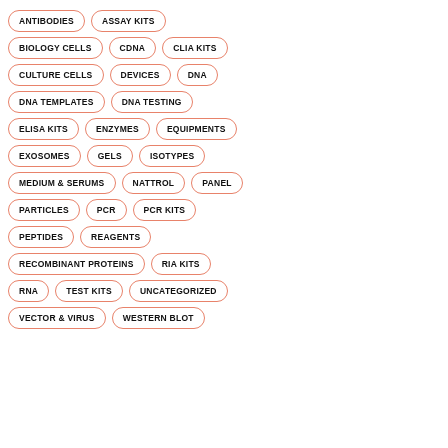ANTIBODIES
ASSAY KITS
BIOLOGY CELLS
CDNA
CLIA KITS
CULTURE CELLS
DEVICES
DNA
DNA TEMPLATES
DNA TESTING
ELISA KITS
ENZYMES
EQUIPMENTS
EXOSOMES
GELS
ISOTYPES
MEDIUM & SERUMS
NATTROL
PANEL
PARTICLES
PCR
PCR KITS
PEPTIDES
REAGENTS
RECOMBINANT PROTEINS
RIA KITS
RNA
TEST KITS
UNCATEGORIZED
VECTOR & VIRUS
WESTERN BLOT